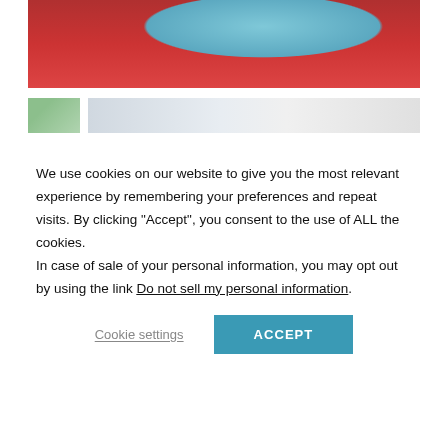[Figure (photo): Person in red scrubs holding a newborn baby wrapped in blue, photographed from below showing the lower torso and hands of the caregiver]
[Figure (photo): Thumbnail strip showing two images: a small green-tinted thumbnail on the left and a larger image of a hospital/medical room interior on the right]
We use cookies on our website to give you the most relevant experience by remembering your preferences and repeat visits. By clicking “Accept”, you consent to the use of ALL the cookies. In case of sale of your personal information, you may opt out by using the link Do not sell my personal information.